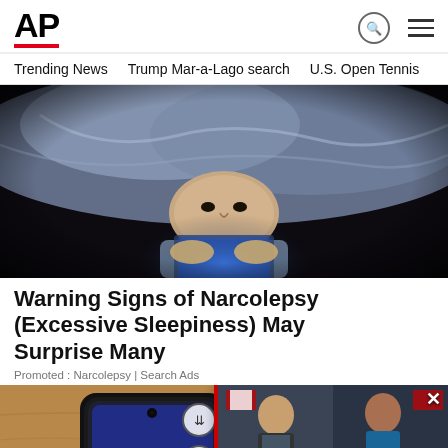AP
Trending News   Trump Mar-a-Lago search   U.S. Open Tennis
[Figure (photo): Man lying under blanket/sheets in dark, looking at smartphone with bright screen illuminating his face]
Warning Signs of Narcolepsy (Excessive Sleepiness) May Surprise Many
Promoted : Narcolepsy | Search Ads
[Figure (photo): Person holding smartphone on wooden table surface, with accessibility and navigation buttons visible]
[Figure (photo): Popup overlay showing two men's headshots with Canadian flags, promoting story about stabbings in Canada]
Stabbings in Canada kill 10, wound 15; suspect...